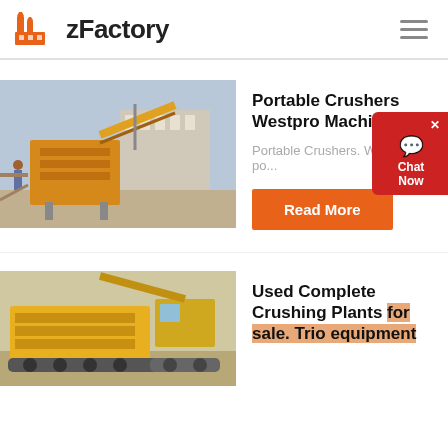zFactory
[Figure (photo): Industrial portable crusher/screening machine at a construction or mining site, yellow machinery with conveyors and industrial buildings in background.]
Portable Crushers Westpro Machinery
Portable Crushers. Westpro's po...
Read More
[Figure (photo): Yellow used complete crushing plant equipment, large industrial machine on a job site.]
Used Complete Crushing Plants for sale. Trio equipment